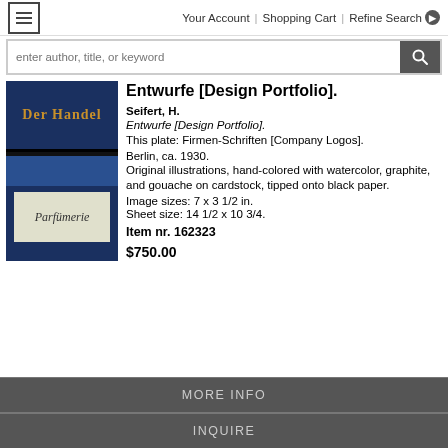≡  Your Account  |  Shopping Cart  |  Refine Search ▶
enter author, title, or keyword
[Figure (photo): Book cover thumbnail showing 'Der Handel' in gold gothic lettering on dark blue background, with 'Parfümerie' in italic script on a light colored label below]
Entwurfe [Design Portfolio].
Seifert, H.
Entwurfe [Design Portfolio].
This plate: Firmen-Schriften [Company Logos].
Berlin, ca. 1930.
Original illustrations, hand-colored with watercolor, graphite, and gouache on cardstock, tipped onto black paper.
Image sizes: 7 x 3 1/2 in.
Sheet size: 14 1/2 x 10 3/4.
Item nr. 162323
$750.00
MORE INFO
INQUIRE